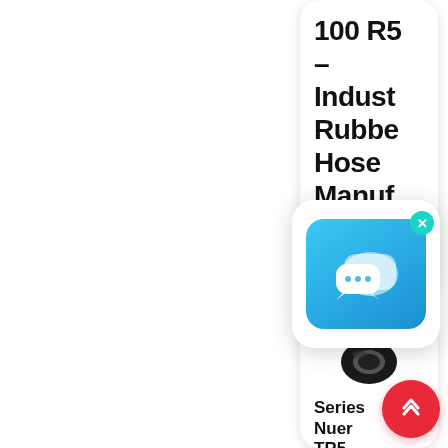100 R5 – Indust Rubbe Hose Manuf
Line res
[Figure (illustration): Chat application popup icon with speech bubbles on blue gradient background, with teal X close button]
[Figure (photo): Black rubber hose ring/donut shaped industrial hose cross-section product image]
Series Nuer TR5-32, 1 13/16